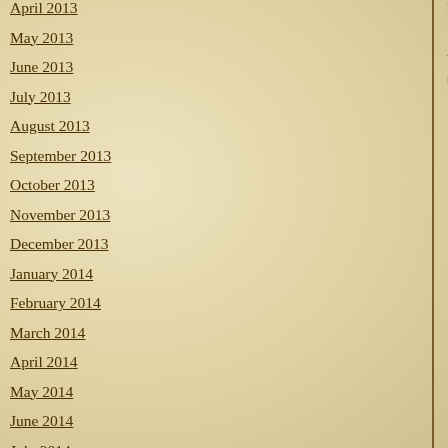Freud's opinion we should never stop tryi…
posted by RDP | 9:08 AM | 0 comments
April 2013
May 2013
June 2013
July 2013
August 2013
September 2013
October 2013
November 2013
December 2013
January 2014
February 2014
March 2014
April 2014
May 2014
June 2014
July 2014
August 2014
September 2014
October 2014
November 2014
December 2014
January 2015